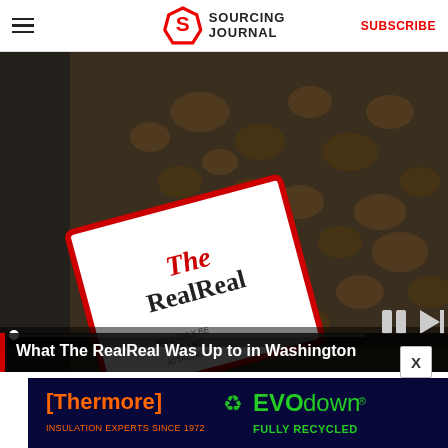Sourcing Journal — SUBSCRIBE
[Figure (photo): A close-up photo of a The RealReal branded price tag attached to a leopard-print fur garment, with a video player overlay showing progress bar and playback controls]
What The RealReal Was Up to in Washington
Read More
[Figure (infographic): Advertisement banner for Thermore EVO down — dark navy background with orange Thermore logo, green recycling icon, and green EVO down text. Text reads: INSULATION EXPERTS SINCE 1972 / FULLY RECYCLED]